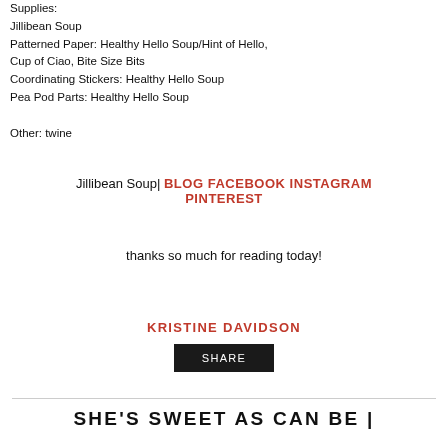Supplies:
Jillibean Soup
Patterned Paper: Healthy Hello Soup/Hint of Hello, Cup of Ciao, Bite Size Bits
Coordinating Stickers: Healthy Hello Soup
Pea Pod Parts: Healthy Hello Soup

Other: twine
Jillibean Soup| BLOG FACEBOOK INSTAGRAM PINTEREST
thanks so much for reading today!
KRISTINE DAVIDSON
SHARE
SHE'S SWEET AS CAN BE |